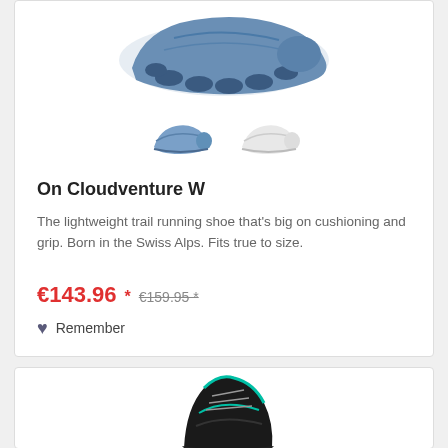[Figure (photo): Top portion of a blue trail running shoe (On Cloudventure W) viewed from above, showing the sole/outsole with cloud elements]
[Figure (photo): Two thumbnail images of the On Cloudventure W shoe: one in blue colorway and one in white colorway]
On Cloudventure W
The lightweight trail running shoe that's big on cushioning and grip. Born in the Swiss Alps. Fits true to size.
€143.96 * €159.95 *
Remember
[Figure (photo): Bottom portion of a black and teal hiking/trail shoe, partially visible at the bottom of the page]